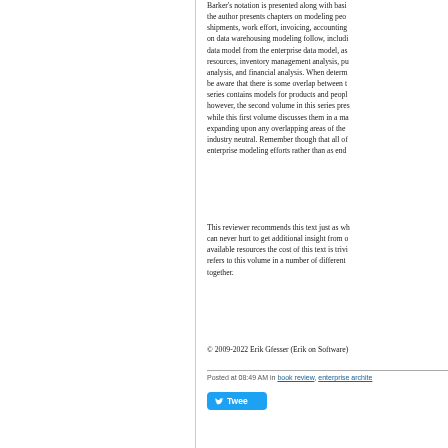Barker's notation is presented along with basic the author presents chapters on modeling peo shipments, work effort, invoicing, accounting on data warehousing modeling follow, includi data model from the enterprise data model, as resources, inventory management analysis, pu analysis, and financial analysis. When determ be aware that there is some overlap between t series contains models for products and peopl however, the second volume in this series pres while this first volume discusses them in a ma expanding upon any overlapping areas of the industry neutral. Remember though that all o enterprise modeling efforts rather than as end
This reviewer recommends this text just as wh can never hurt to get additional insight from o available resources the cost of this text is trivi refers to this volume in a number of different together.
© 2009-2022 Erik Gfesser (Erik on Software)
Posted at 08:49 AM in book review, enterprise archite
[Figure (other): Twitter Tweet button — blue rounded rectangle with bird icon and 'Twee' text (partially visible)]